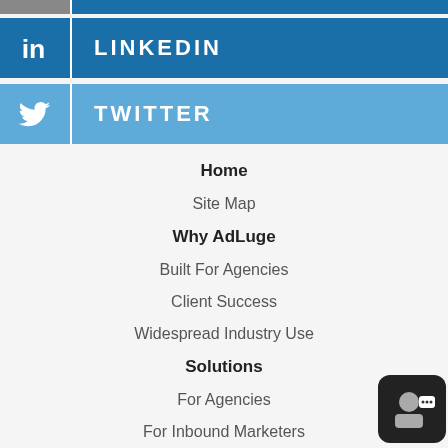[Figure (infographic): LinkedIn social media bar with LinkedIn logo icon and text LINKEDIN on dark blue background]
[Figure (infographic): Twitter social media bar with Twitter bird icon and text TWITTER on light blue background]
Home
Site Map
Why AdLuge
Built For Agencies
Client Success
Widespread Industry Use
Solutions
For Agencies
For Inbound Marketers
Pricing